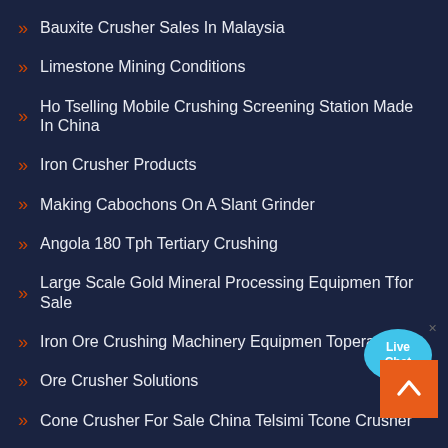Bauxite Crusher Sales In Malaysia
Limestone Mining Conditions
Ho Tselling Mobile Crushing Screening Station Made In China
Iron Crusher Products
Making Cabochons On A Slant Grinder
Angola 180 Tph Tertiary Crushing
Large Scale Gold Mineral Processing Equipmen Tfor Sale
Iron Ore Crushing Machinery Equipmen Toperation
Ore Crusher Solutions
Cone Crusher For Sale China Telsimi Tcone Crusher